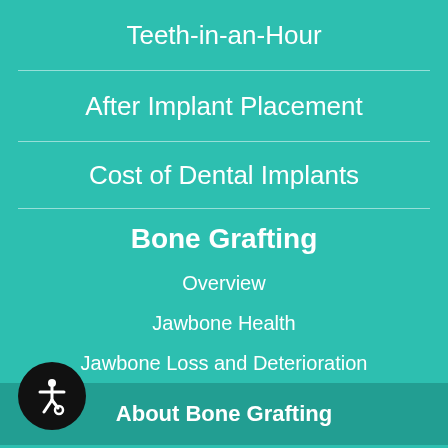Teeth-in-an-Hour
After Implant Placement
Cost of Dental Implants
Bone Grafting
Overview
Jawbone Health
Jawbone Loss and Deterioration
About Bone Grafting
Ridge Augmentation
Sinus Augmentation